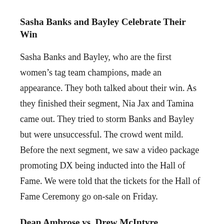Sasha Banks and Bayley Celebrate Their Win
Sasha Banks and Bayley, who are the first women’s tag team champions, made an appearance. They both talked about their win. As they finished their segment, Nia Jax and Tamina came out. They tried to storm Banks and Bayley but were unsuccessful. The crowd went mild. Before the next segment, we saw a video package promoting DX being inducted into the Hall of Fame. We were told that the tickets for the Hall of Fame Ceremony go on-sale on Friday.
Dean Ambrose vs. Drew McIntyre
The next match was Dean Ambrose versus Drew McIntyre. Ambrose got McIntyre outside the ring an